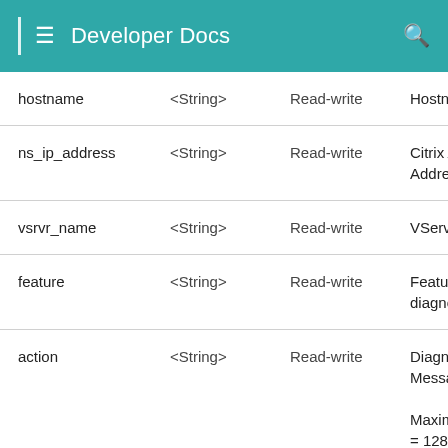Developer Docs
|  |  |  |  |
| --- | --- | --- | --- |
| hostname | <String> | Read-write | Hostname. |
| ns_ip_address | <String> | Read-write | Citrix ADC IP Address. |
| vsrvr_name | <String> | Read-write | VServer Name. |
| feature | <String> | Read-write | Feature being diagnosed for. |
| action | <String> | Read-write | Diagnosis Message.

Maximum length = 128 |